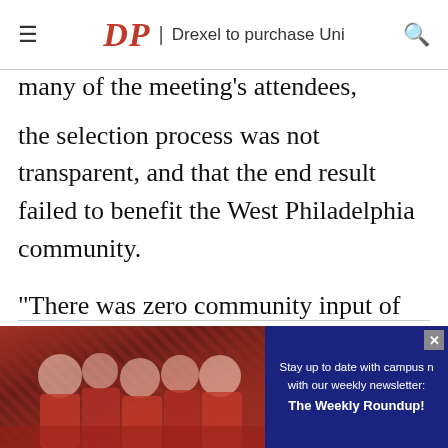DP | Drexel to purchase Uni
Many of the meeting's attendees, though, felt that the selection process was not transparent, and that the end result failed to benefit the West Philadelphia community.
“There was zero community input of who the developer was going to be,” Powelton Village Civic Association President Michael Jones said. “This was simply irresponsible.”
[Figure (photo): Advertisement banner at bottom of page showing crowd of people in red shirts alongside a navy blue box with text: Stay up to date with campus news with our weekly newsletter: The Weekly Roundup!]